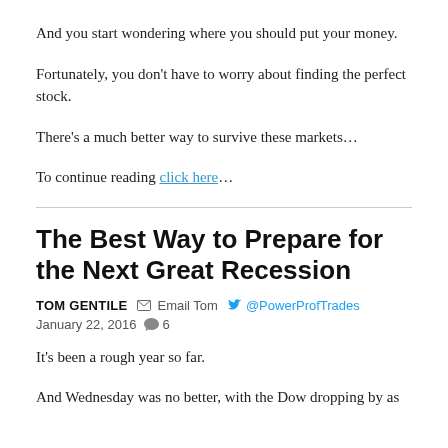And you start wondering where you should put your money.
Fortunately, you don’t have to worry about finding the perfect stock.
There’s a much better way to survive these markets…
To continue reading click here…
The Best Way to Prepare for the Next Great Recession
TOM GENTILE   Email Tom   @PowerProfTrades   January 22, 2016   6
It’s been a rough year so far.
And Wednesday was no better, with the Dow dropping by as